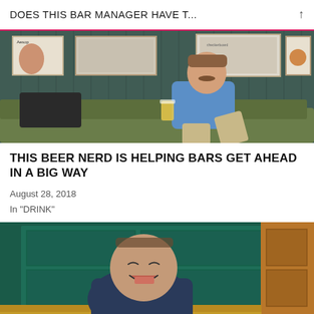DOES THIS BAR MANAGER HAVE T...
[Figure (photo): Man with mustache in blue denim shirt sitting on a green sofa holding a glass of beer, with framed artwork on a dark wall behind him]
THIS BEER NERD IS HELPING BARS GET AHEAD IN A BIG WAY
August 28, 2018
In "DRINK"
[Figure (photo): Smiling heavyset man in dark blue shirt sitting in front of a teal/green paneled booth or door, with a wooden door visible on the right and a gold/yellow seat visible at the bottom]